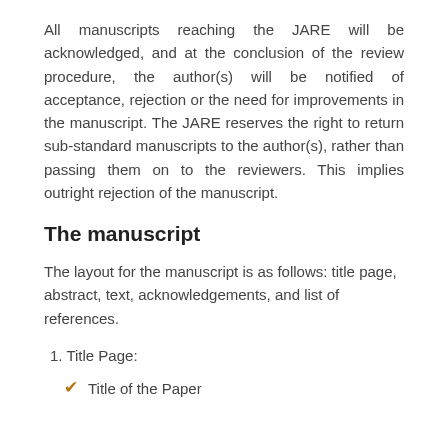All manuscripts reaching the JARE will be acknowledged, and at the conclusion of the review procedure, the author(s) will be notified of acceptance, rejection or the need for improvements in the manuscript. The JARE reserves the right to return sub-standard manuscripts to the author(s), rather than passing them on to the reviewers. This implies outright rejection of the manuscript.
The manuscript
The layout for the manuscript is as follows: title page, abstract, text, acknowledgements, and list of references.
1. Title Page:
Title of the Paper